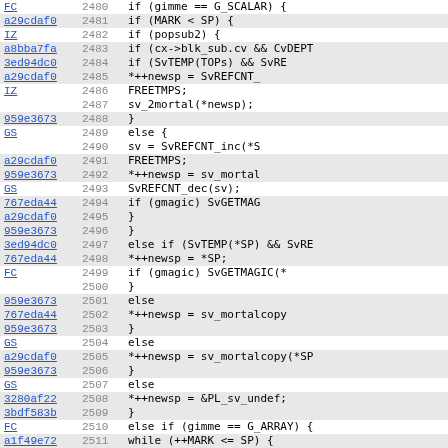[Figure (screenshot): Source code viewer showing Perl/C code lines 2480-2512 with commit hash links, line numbers, and code content. Alternating highlighted rows. Code shows scalar/array handling logic with SvREFCNT, SvTEMP, mortalcopy operations.]